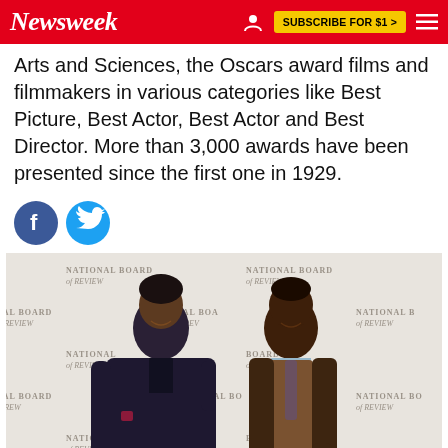Newsweek | SUBSCRIBE FOR $1 >
Arts and Sciences, the Oscars award films and filmmakers in various categories like Best Picture, Best Actor, Best Actor and Best Director. More than 3,000 awards have been presented since the first one in 1929.
[Figure (photo): Two men posing together in front of a National Board of Review step-and-repeat backdrop. The man on the left wears a dark navy suit, the man on the right wears a brown tweed jacket with a light blue shirt and tie.]